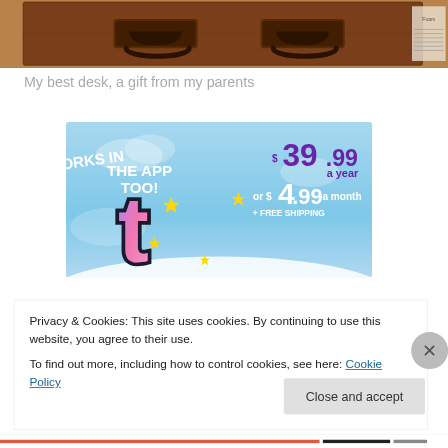[Figure (photo): Photo of a wooden desk with dark ornate drawer handles, partially cropped at top]
My best desk, a gift from my parents
[Figure (infographic): Tumblr Ad banner: 'WORKS IN THE APP TOO!' with Tumblr logo and pricing: $39.99 a year or $4.99 a month + FREE SHIPPING on blue sky background]
Privacy & Cookies: This site uses cookies. By continuing to use this website, you agree to their use.
To find out more, including how to control cookies, see here: Cookie Policy